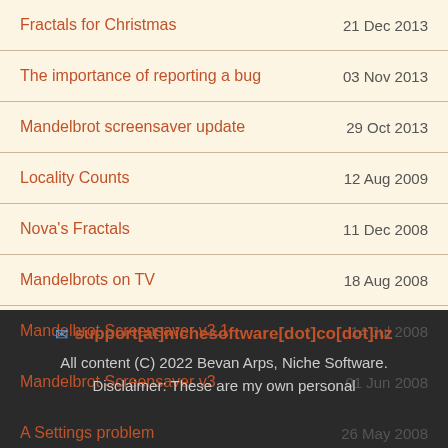Fractals for Christmas | 21 Dec 2013
The importance of reporting a bug | 03 Nov 2013
Mandelbrot screensaver update | 29 Oct 2013
Locality Counts | 12 Aug 2009
Nova's Fractals | 11 Dec 2008
Mandelbrots on TV | 18 Aug 2008
Mandelbrot Screensaver v3.1 | 14 Jul 2008
Mandelbrot Screensaver v3 | 01 Jun 2008
A Settings problem | 26 May 2008
support[at]nichesoftware[dot]co[dot]nz
All content (C) 2022 Bevan Arps, Niche Software.
Disclaimer: These are my own personal